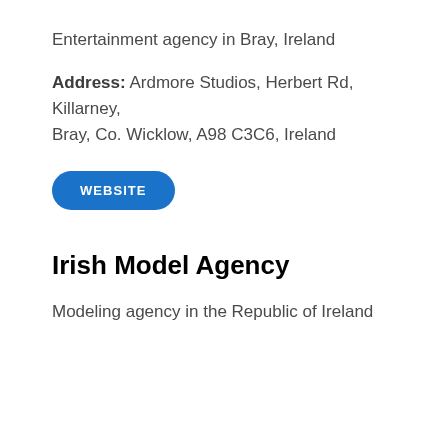Entertainment agency in Bray, Ireland
Address: Ardmore Studios, Herbert Rd, Killarney, Bray, Co. Wicklow, A98 C3C6, Ireland
[Figure (other): Blue rounded rectangle button labeled WEBSITE]
Irish Model Agency
Modeling agency in the Republic of Ireland